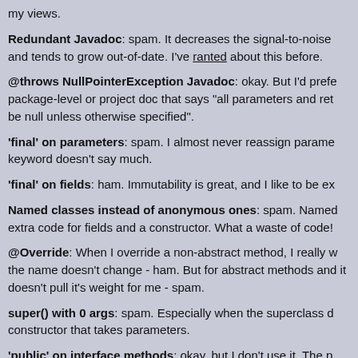my views.
Redundant Javadoc: spam. It decreases the signal-to-noise and tends to grow out-of-date. I've ranted about this before.
@throws NullPointerException Javadoc: okay. But I'd prefer package-level or project doc that says "all parameters and returns can not be null unless otherwise specified".
'final' on parameters: spam. I almost never reassign parameters, so the keyword doesn't say much.
'final' on fields: ham. Immutability is great, and I like to be ex...
Named classes instead of anonymous ones: spam. Named classes require extra code for fields and a constructor. What a waste of code!
@Override: When I override a non-abstract method, I really want to know the name doesn't change - ham. But for abstract methods and interfaces, it doesn't pull it's weight for me - spam.
super() with 0 args: spam. Especially when the superclass doesn't have a constructor that takes parameters.
'public' on interface methods: okay, but I don't use it. The pu...